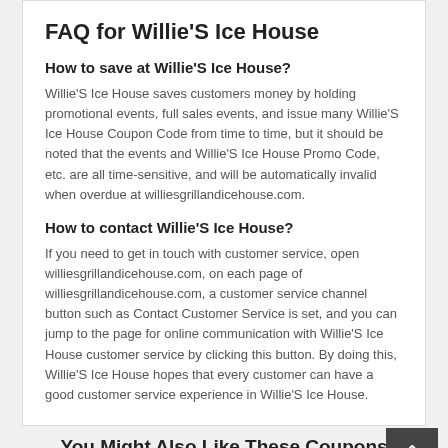FAQ for Willie'S Ice House
How to save at Willie'S Ice House?
Willie'S Ice House saves customers money by holding promotional events, full sales events, and issue many Willie'S Ice House Coupon Code from time to time, but it should be noted that the events and Willie'S Ice House Promo Code, etc. are all time-sensitive, and will be automatically invalid when overdue at williesgrillandicehouse.com.
How to contact Willie'S Ice House?
If you need to get in touch with customer service, open williesgrillandicehouse.com, on each page of williesgrillandicehouse.com, a customer service channel button such as Contact Customer Service is set, and you can jump to the page for online communication with Willie'S Ice House customer service by clicking this button. By doing this, Willie'S Ice House hopes that every customer can have a good customer service experience in Willie'S Ice House.
You Might Also Like These Coupons
Today's All Best Products Of Park Tool
Deal